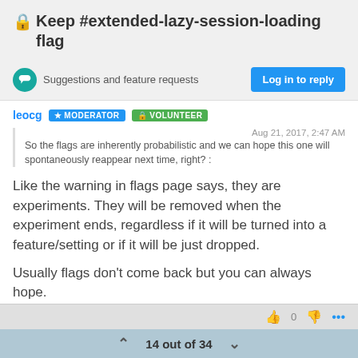🔒Keep #extended-lazy-session-loading flag
Suggestions and feature requests
Log in to reply
leocg   ★ MODERATOR   🔒 VOLUNTEER
Aug 21, 2017, 2:47 AM
So the flags are inherently probabilistic and we can hope this one will spontaneously reappear next time, right? :
Like the warning in flags page says, they are experiments. They will be removed when the experiment ends, regardless if it will be turned into a feature/setting or if it will be just dropped.

Usually flags don't come back but you can always hope.
14 out of 34